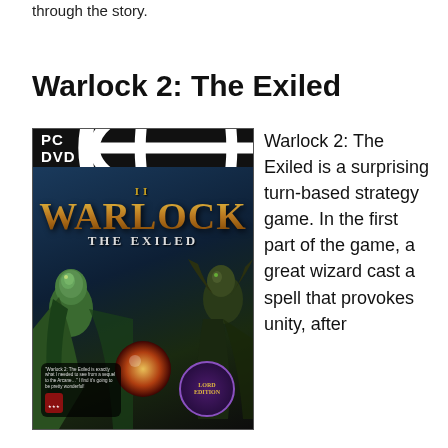through the story.
Warlock 2: The Exiled
[Figure (photo): PC DVD game box cover for Warlock 2: The Exiled by Paradox Interactive, showing fantasy characters and the game title. Lord Edition badge visible.]
Warlock 2: The Exiled is a surprising turn-based strategy game. In the first part of the game, a great wizard cast a spell that provokes unity, after